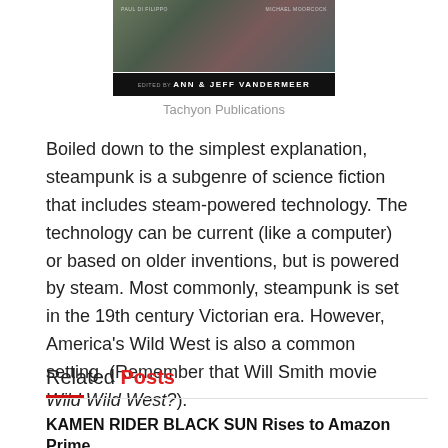[Figure (photo): Book cover for a steampunk anthology edited by Ann & Jeff VanderMeer, published by Tachyon Publications. The cover shows a textured dark background with author names Paul Di Filippo and Michael Moorcock at the top, and 'Edited by Ann & Jeff VanderMeer' on a black banner at the bottom.]
Tachyon Publications
Boiled down to the simplest explanation, steampunk is a subgenre of science fiction that includes steam-powered technology. The technology can be current (like a computer) or based on older inventions, but is powered by steam. Most commonly, steampunk is set in the 19th century Victorian era. However, America's Wild West is also a common setting. (Remember that Will Smith movie Wild Wild West?).
Related Posts
KAMEN RIDER BLACK SUN Rises to Amazon Prime